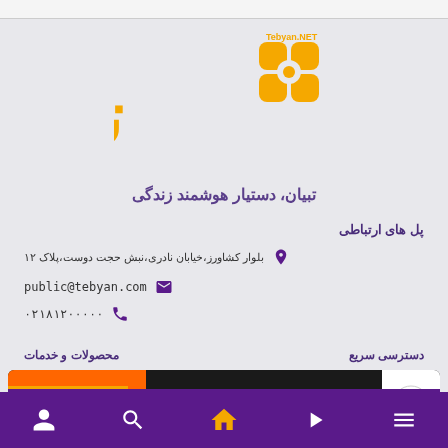[Figure (logo): Tebyan.NET logo with Arabic/Persian text in gold/yellow on grey background]
تبیان، دستیار هوشمند زندگی
پل های ارتباطی
بلوار کشاورز،خیابان نادری،نبش حجت دوست،پلاک ۱۲
public@tebyan.com
۰۲۱۸۱۲۰۰۰۰۰
دسترسی سریع
محصولات و خدمات
[Figure (screenshot): Banner advertisement: خرید از فروشگاه آنلا with orange button and Irancell logo]
Navigation bar with user, search, home, play, and menu icons